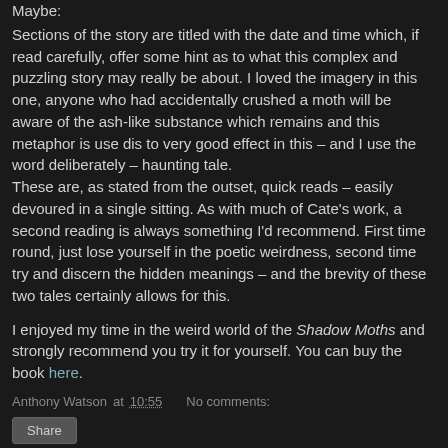Maybe:
Sections of the story are titled with the date and time which, if read carefully, offer some hint as to what this complex and puzzling story may really be about. I loved the imagery in this one, anyone who had accidentally crushed a moth will be aware of the ash-like substance which remains and this metaphor is use dis to very good effect in this – and I use the word deliberately – haunting tale.
These are, as stated from the outset, quick reads – easily devoured in a single sitting. As with much of Cate's work, a second reading is always something I'd recommend. First time round, just lose yourself in the poetic weirdness, second time try and discern the hidden meanings – and the brevity of these two tales certainly allows for this.
I enjoyed my time in the weird world of the Shadow Moths and strongly recommend you try it for yourself. You can buy the book here.
Anthony Watson at 10:55   No comments:
Share